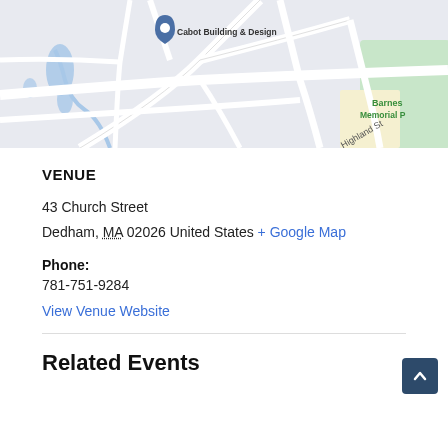[Figure (map): Google Maps snippet showing streets near Dedham MA including Highland St, School St, Cabot Building & Design, CVS, Staples, Petco, Barnes Memorial Park]
VENUE
43 Church Street
Dedham, MA 02026 United States + Google Map
Phone:
781-751-9284
View Venue Website
Related Events